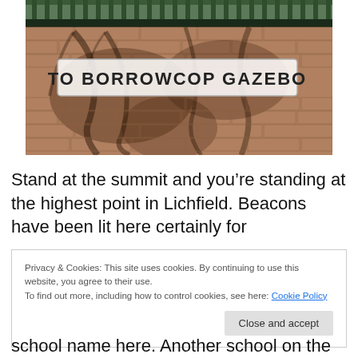[Figure (photo): Photograph of a brick wall with shadows of tree branches. A white rectangular sign with green-highlighted text reads 'TO BORROWCOP GAZEBO'. Above the wall are green metal railings.]
Stand at the summit and you're standing at the highest point in Lichfield. Beacons have been lit here certainly for
Privacy & Cookies: This site uses cookies. By continuing to use this website, you agree to their use.
To find out more, including how to control cookies, see here: Cookie Policy
[Close and accept button]
school name here. Another school on the site, the just as